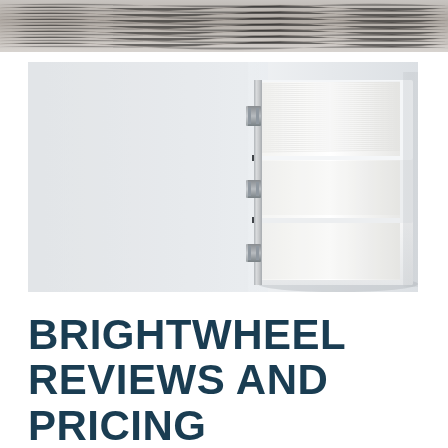[Figure (photo): Textured gray rope or fiber material background strip at the top of the page]
[Figure (photo): Stack of white binders/notebooks photographed from the side on a white background, right-aligned in the image]
BRIGHTWHEEL REVIEWS AND PRICING